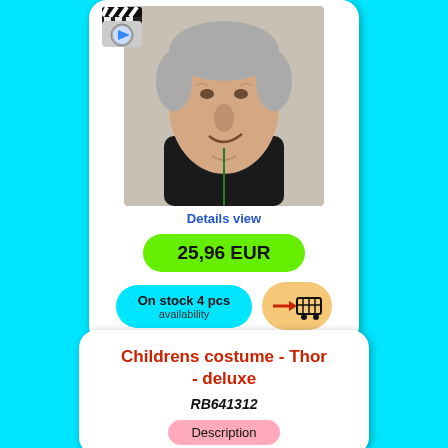[Figure (photo): Product photo of an old man latex mask with grey hair and dark turtleneck, shown from shoulders up]
Details view
25,96 EUR
On stock 4 pcs
availability
[Figure (illustration): Add to cart button with arrow and shopping cart icon]
Childrens costume - Thor - deluxe
RB641312
Description